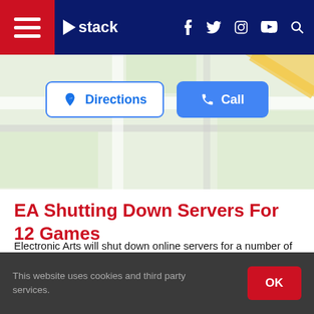stack — navigation bar with hamburger menu, logo, social icons (Facebook, Twitter, Instagram, YouTube), and search
[Figure (screenshot): Partial Google Maps view with Directions and Call buttons overlaid]
EA Shutting Down Servers For 12 Games
Electronic Arts will shut down online servers for a number of games throughout January. Starting on Jan. 11, EA will shut down online servers for 12 of its games, including FIFA Soccer 11, FIFA Soccer 11 Ultimate Team, Madden NFL 11, Madden NFL 11 Ultimate Team, NBA Jam (with the exception of the On Fire edition), NBA Live 10, NCAA Football 11 and the regular and Ultimate Team editions of NFL 11.
This website uses cookies and third party services.   OK